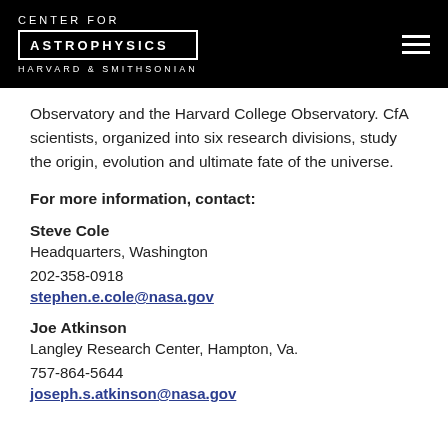CENTER FOR ASTROPHYSICS HARVARD & SMITHSONIAN
Observatory and the Harvard College Observatory. CfA scientists, organized into six research divisions, study the origin, evolution and ultimate fate of the universe.
For more information, contact:
Steve Cole
Headquarters, Washington
202-358-0918
stephen.e.cole@nasa.gov
Joe Atkinson
Langley Research Center, Hampton, Va.
757-864-5644
joseph.s.atkinson@nasa.gov